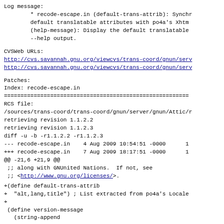Log message:
        * recode-escape.in (default-trans-attrib): Synchr
        default translatable attributes with po4a's Xhtml
        (help-message): Display the default translatable
        --help output.
CVSWeb URLs:
http://cvs.savannah.gnu.org/viewcvs/trans-coord/gnun/serv
http://cvs.savannah.gnu.org/viewcvs/trans-coord/gnun/serv
Patches:
Index: recode-escape.in
====================================================
RCS file:
/sources/trans-coord/trans-coord/gnun/server/gnun/Attic/r
retrieving revision 1.1.2.2
retrieving revision 1.1.2.3
diff -u -b -r1.1.2.2 -r1.1.2.3
--- recode-escape.in    4 Aug 2009 10:54:51 -0000      1
+++ recode-escape.in    7 Aug 2009 18:17:51 -0000      1
@@ -21,6 +21,9 @@
 ;; along with GNUnited Nations.  If not, see
 ;; <http://www.gnu.org/licenses/>.
+(define default-trans-attrib
+  "alt,lang,title") ; List extracted from po4a's Locale
+
 (define version-message
   (string-append